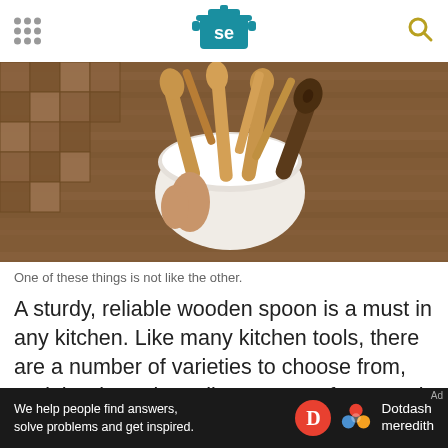Serious Eats — navigation header with logo and search
[Figure (photo): Overhead view of wooden spoons and kitchen utensils in a white ceramic bowl on a wooden cutting board background. One darker spoon stands out among the lighter colored wooden utensils.]
One of these things is not like the other.
A sturdy, reliable wooden spoon is a must in any kitchen. Like many kitchen tools, there are a number of varieties to choose from, and the "best" is really a matter of personal choice. While our favorite is a Le Creuset one, we reviewed a handful
[Figure (infographic): Dotdash Meredith advertisement banner: 'We help people find answers, solve problems and get inspired.' with Dotdash Meredith logo.]